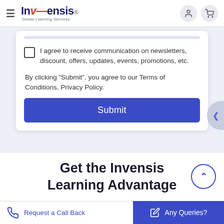[Figure (logo): Invensis Global Learning Services logo with hamburger menu, person icon, and cart icon in navigation bar]
I agree to receive communication on newsletters, discount, offers, updates, events, promotions, etc.
By clicking "Submit", you agree to our Terms of Conditions, Privacy Policy.
Submit
Get the Invensis Learning Advantage
Request a Call Back
Any Queries?